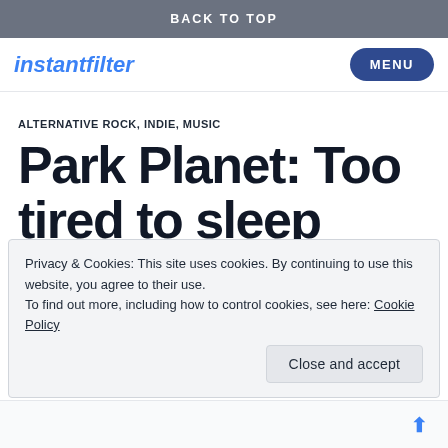BACK TO TOP
instantfilter   MENU
ALTERNATIVE ROCK, INDIE, MUSIC
Park Planet: Too tired to sleep (Remixes)
☆☆☆☆☆ ℹ Rate This
Privacy & Cookies: This site uses cookies. By continuing to use this website, you agree to their use.
To find out more, including how to control cookies, see here: Cookie Policy
Close and accept